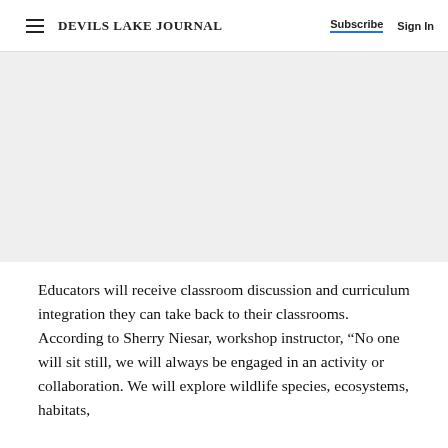DEVILS LAKE JOURNAL | Subscribe | Sign In
[Figure (other): Gray advertisement placeholder area]
Educators will receive classroom discussion and curriculum integration they can take back to their classrooms. According to Sherry Niesar, workshop instructor, “No one will sit still, we will always be engaged in an activity or collaboration. We will explore wildlife species, ecosystems, habitats,